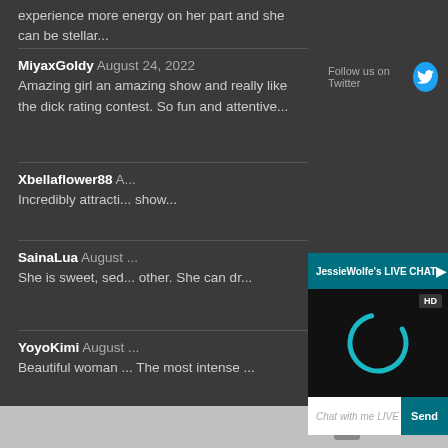experience more energy on her part and she can be stellar...
MiyaxGoldy August 24, 2022
Amazing girl an amazing show and really like the dick rating contest. So fun and attentive...
Follow us on Twitter
Xbellaflower88 A...
Incredibly attracti... show...
SainaLua August ...
She is sweet, sed... other. She can dr...
YoyoKimi August ...
Beautiful woman ... The most intense ...
[Figure (screenshot): JessieWolfe's LIVE CHAT overlay widget showing a dark video area with a teal loading spinner, HD badge, mute and close icons, and a chat input bar with 'Chat with me LIVE now!' placeholder and a teal Send button.]